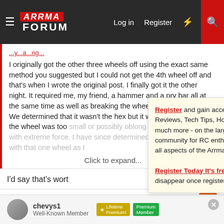ARRMA FORUM — Log in | Register
I originally got the other three wheels off using the exact same method you suggested but I could not get the 4th wheel off and that's when I wrote the original post. I finally got it the other night. It required me, my friend, a hammer and a pry bar all at the same time as well as breaking the wheel and tearing the tire. We determined that it wasn't the hex but it was the round hole in the wheel was too small or possibly oblong so it was pressed on with extreme force. I have since determined the the problem was with that one wheel as I
Click to expand...
I'd say that's wort
Register and gain access to Discussions, Reviews, Tech Tips, How to Articles, and much more - on the largest Arrma RC community for RC enthusiasts that covers all aspects of the Arrma-RC brand!

Register Today It's free! This box will disappear once registered!
Kalani938 and o
chevys1
Well-Known Member